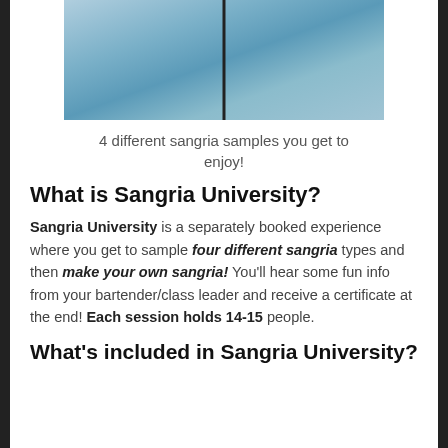[Figure (photo): Photo of wine glasses with sangria samples on a table with a blue decorative tablecloth]
4 different sangria samples you get to enjoy!
What is Sangria University?
Sangria University is a separately booked experience where you get to sample four different sangria types and then make your own sangria! You'll hear some fun info from your bartender/class leader and receive a certificate at the end! Each session holds 14-15 people.
What's included in Sangria University?